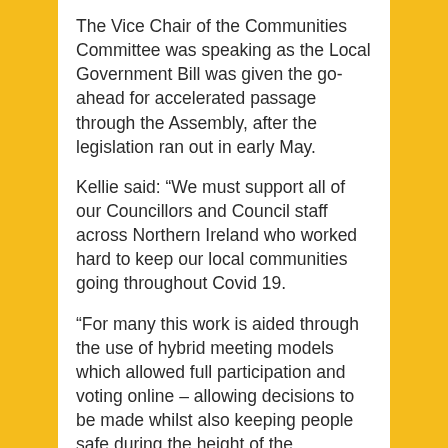The Vice Chair of the Communities Committee was speaking as the Local Government Bill was given the go-ahead for accelerated passage through the Assembly, after the legislation ran out in early May.
Kellie said: “We must support all of our Councillors and Council staff across Northern Ireland who worked hard to keep our local communities going throughout Covid 19.
“For many this work is aided through the use of hybrid meeting models which allowed full participation and voting online – allowing decisions to be made whilst also keeping people safe during the height of the pandemic.
“One of the lasting impacts of Covid will be